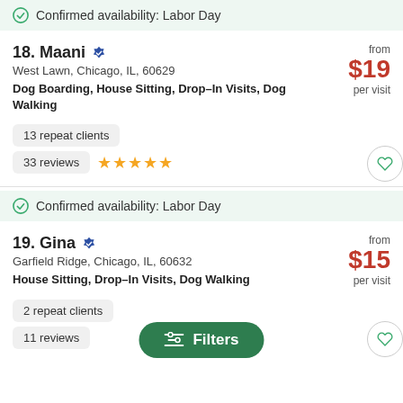Confirmed availability: Labor Day
18. Maani
West Lawn, Chicago, IL, 60629
Dog Boarding, House Sitting, Drop–In Visits, Dog Walking
from $19 per visit
13 repeat clients
33 reviews ★★★★★
Confirmed availability: Labor Day
19. Gina
Garfield Ridge, Chicago, IL, 60632
House Sitting, Drop–In Visits, Dog Walking
from $15 per visit
2 repeat clients
11 reviews
Filters